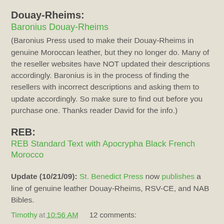Douay-Rheims:
Baronius Douay-Rheims
(Baronius Press used to make their Douay-Rheims in genuine Moroccan leather, but they no longer do. Many of the reseller websites have NOT updated their descriptions accordingly. Baronius is in the process of finding the resellers with incorrect descriptions and asking them to update accordingly. So make sure to find out before you purchase one. Thanks reader David for the info.)
REB:
REB Standard Text with Apocrypha Black French Morocco
Update (10/21/09): St. Benedict Press now publishes a line of genuine leather Douay-Rheims, RSV-CE, and NAB Bibles.
Timothy at 10:56 AM    12 comments:
Share